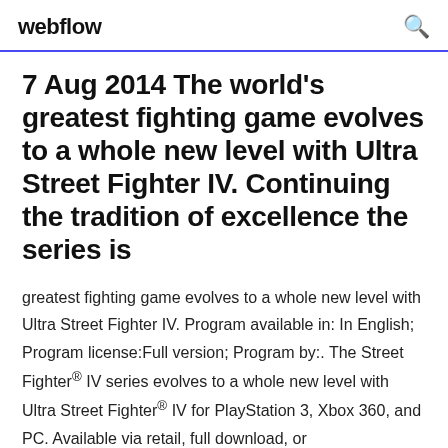webflow
7 Aug 2014 The world's greatest fighting game evolves to a whole new level with Ultra Street Fighter IV. Continuing the tradition of excellence the series is
greatest fighting game evolves to a whole new level with Ultra Street Fighter IV. Program available in: In English; Program license: Full version; Program by:. The Street Fighter® IV series evolves to a whole new level with Ultra Street Fighter® IV for PlayStation 3, Xbox 360, and PC. Available via retail, full download, or